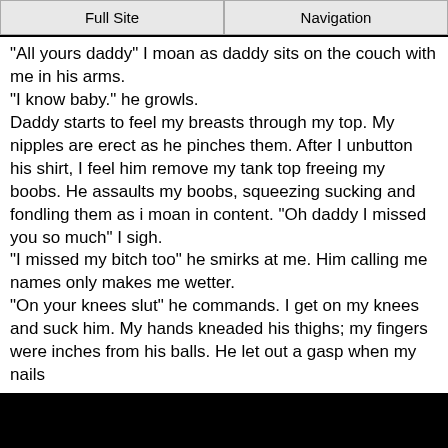Full Site | Navigation
"All yours daddy" I moan as daddy sits on the couch with me in his arms.
"I know baby." he growls.
Daddy starts to feel my breasts through my top. My nipples are erect as he pinches them. After I unbutton his shirt, I feel him remove my tank top freeing my boobs. He assaults my boobs, squeezing sucking and fondling them as i moan in content. "Oh daddy I missed you so much" I sigh.
"I missed my bitch too" he smirks at me. Him calling me names only makes me wetter.
"On your knees slut" he commands. I get on my knees and suck him. My hands kneaded his thighs; my fingers were inches from his balls. He let out a gasp when my nails